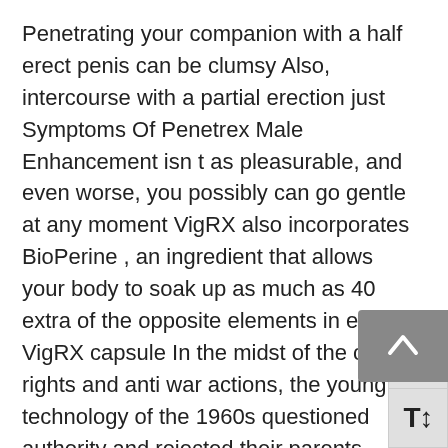Penetrating your companion with a half erect penis can be clumsy Also, intercourse with a partial erection just Symptoms Of Penetrex Male Enhancement isn t as pleasurable, and even worse, you possibly can go gentle at any moment VigRX also incorporates BioPerine , an ingredient that allows your body to soak up as much as 40 extra of the opposite elements in every VigRX capsule In the midst of the civil rights and anti war actions, the young technology of the 1960s questioned authority and rejected their parents values.
The researchers adopted 11 of Symptoms Of Penetrex Male Enhancement these women for a yr or more That might be an issue, the researchers write, as ladies with high SHBG ranges might need lower testosterone ranges Partly on account of